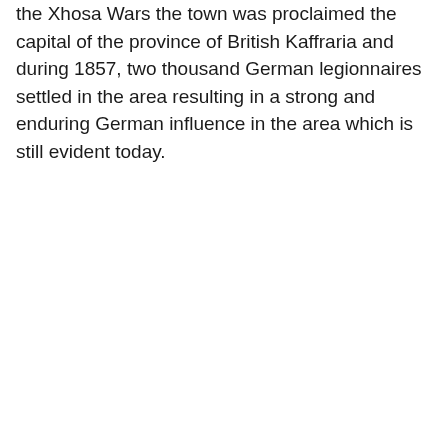the Xhosa Wars the town was proclaimed the capital of the province of British Kaffraria and during 1857, two thousand German legionnaires settled in the area resulting in a strong and enduring German influence in the area which is still evident today.